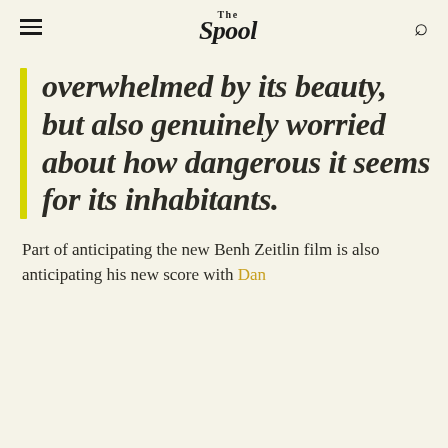The Spool
overwhelmed by its beauty, but also genuinely worried about how dangerous it seems for its inhabitants.
Part of anticipating the new Benh Zeitlin film is also anticipating his new score with Dan